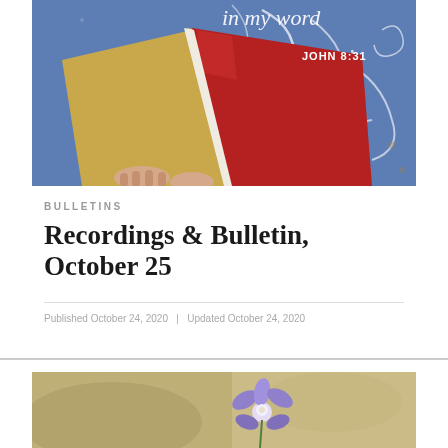[Figure (illustration): Artistic illustration of an open red book with a decorative blue background featuring white swirling flourishes. Text reads 'in my word' in calligraphic style with 'JOHN 8:31' in white letters. Hands visible holding the book.]
BULLETINS
Recordings & Bulletin, October 25
Published October 24, 2020   Updated October 24, 2020
[Figure (photo): Close-up photo of a purple/violet flower (bluebell or similar) against a blurred warm background.]